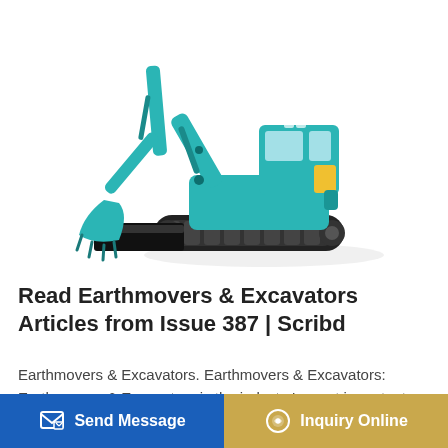[Figure (photo): Teal/turquoise mini excavator with bucket attachment and blade, photographed on white background]
Read Earthmovers & Excavators Articles from Issue 387 | Scribd
Earthmovers & Excavators. Earthmovers & Excavators: Earthmovers & Excavators is the industry's most important issue... Editor Andrew Hob...
Send Message | Inquiry Online